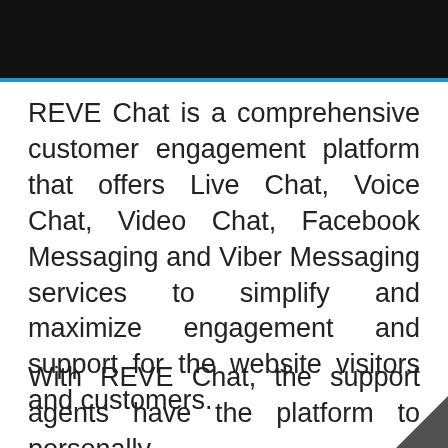[Figure (other): Black header bar with blue bottom border line]
REVE Chat is a comprehensive customer engagement platform that offers Live Chat, Voice Chat, Video Chat, Facebook Messaging and Viber Messaging services to simplify and maximize engagement and support for the website visitors and customers.
With REVE Chat, the support agents have the platform to personally provide with some assistance